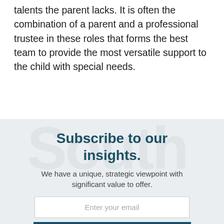talents the parent lacks. It is often the combination of a parent and a professional trustee in these roles that forms the best team to provide the most versatile support to the child with special needs.
Subscribe to our insights.
We have a unique, strategic viewpoint with significant value to offer.